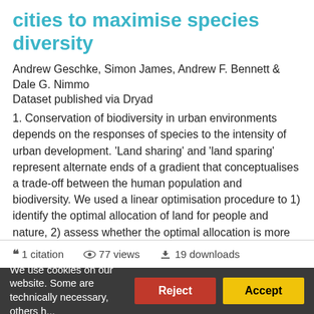cities to maximise species diversity
Andrew Geschke, Simon James, Andrew F. Bennett & Dale G. Nimmo
Dataset published via Dryad
1. Conservation of biodiversity in urban environments depends on the responses of species to the intensity of urban development. 'Land sharing' and 'land sparing' represent alternate ends of a gradient that conceptualises a trade-off between the human population and biodiversity. We used a linear optimisation procedure to 1) identify the optimal allocation of land for people and nature, 2) assess whether the optimal allocation is more similar to land sparing or land sharing, and 3)...
1 citation   77 views   19 downloads
We use cookies on our website. Some are technically necessary, others help us...